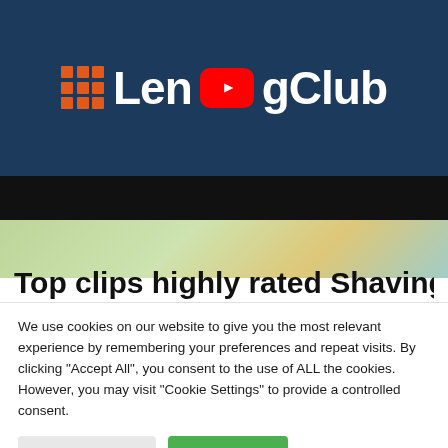[Figure (screenshot): LendingClub logo on dark navy background with YouTube play button icon overlay. Orange grid icon on left, white bold text 'LendingClub' with red YouTube play button replacing the 'di' portion.]
[Figure (screenshot): Partially visible webpage content below the header. Black navigation bar and partially visible colorful finance-related icon graphics with text 'Top clips highly rated Shaving Pubic' partially cropped.]
We use cookies on our website to give you the most relevant experience by remembering your preferences and repeat visits. By clicking "Accept All", you consent to the use of ALL the cookies. However, you may visit "Cookie Settings" to provide a controlled consent.
Cookie Settings
Accept All